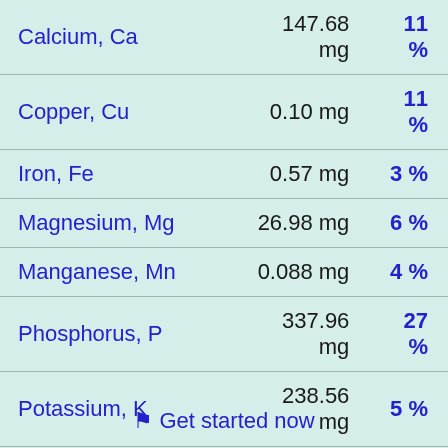| Nutrient | Amount | DV% |
| --- | --- | --- |
| Calcium, Ca | 147.68 mg | 11 % |
| Copper, Cu | 0.10 mg | 11 % |
| Iron, Fe | 0.57 mg | 3 % |
| Magnesium, Mg | 26.98 mg | 6 % |
| Manganese, Mn | 0.088 mg | 4 % |
| Phosphorus, P | 337.96 mg | 27 % |
| Potassium, K | 238.56 mg | 5 % |
| Selenium, Se | 3.27 mcg | 6 % |
| Sodium, Na | 403.28 mg | 18 % |
⚑ Get started now